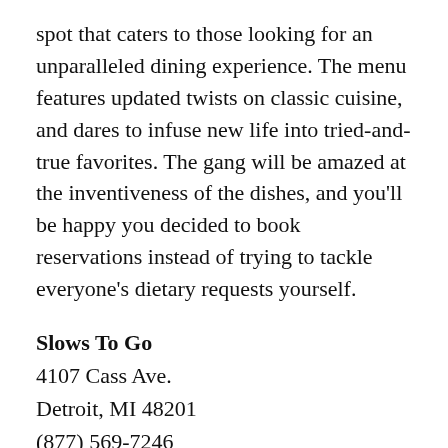spot that caters to those looking for an unparalleled dining experience. The menu features updated twists on classic cuisine, and dares to infuse new life into tried-and-true favorites. The gang will be amazed at the inventiveness of the dishes, and you'll be happy you decided to book reservations instead of trying to tackle everyone's dietary requests yourself.
Slows To Go
4107 Cass Ave.
Detroit, MI 48201
(877) 569-7246
www.slowstogo.com
There's no better time to chow down on some BBQ chicken with all the fixins than on Turkey Day. We get the irony, but when you can call in your order